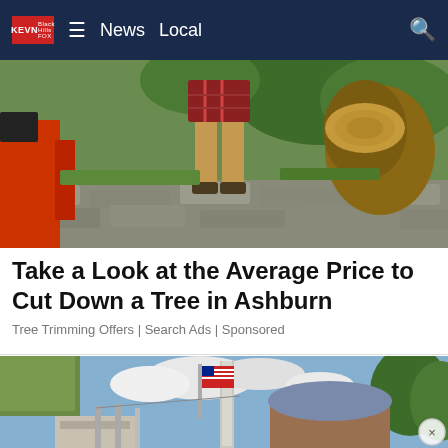KEVN  ≡  News  Local
[Figure (photo): Person standing next to a large cut tree trunk with red equipment and stone wall in background]
Take a Look at the Average Price to Cut Down a Tree in Ashburn
Tree Trimming Offers | Search Ads | Sponsored
[Figure (photo): Outdoor scene with American flag on tall pole, modern building with curved roof, green trees and blue sky]